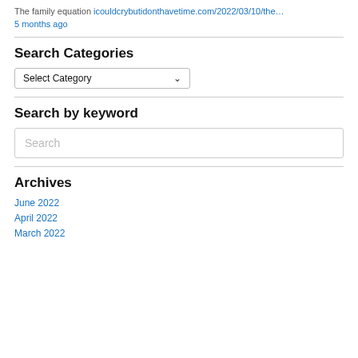The family equation icouldcrybutidonthavetime.com/2022/03/10/the…
5 months ago
Search Categories
[Figure (screenshot): Dropdown select box with 'Select Category' placeholder]
Search by keyword
[Figure (screenshot): Search text input box with placeholder text 'Search']
Archives
June 2022
April 2022
March 2022